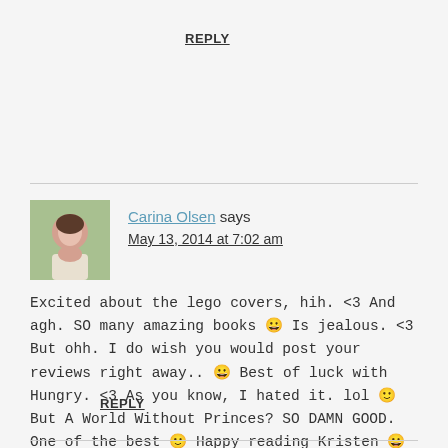REPLY
Carina Olsen says
May 13, 2014 at 7:02 am
Excited about the lego covers, hih. <3 And agh. SO many amazing books 😀 Is jealous. <3 But ohh. I do wish you would post your reviews right away.. 😀 Best of luck with Hungry. <3 As you know, I hated it. lol 🙂 But A World Without Princes? SO DAMN GOOD. One of the best 🙂 Happy reading Kristen 😀
REPLY